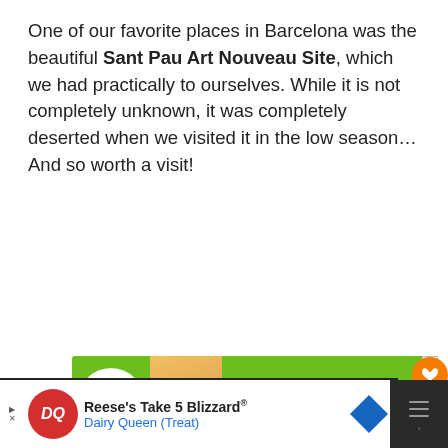One of our favorite places in Barcelona was the beautiful Sant Pau Art Nouveau Site, which we had practically to ourselves. While it is not completely unknown, it was completely deserted when we visited it in the low season… And so worth a visit!
[Figure (screenshot): Green advertisement banner for 'Cookies for Kids Cancer' with text 'your HOBBY is their HOPE' on green background with heart-shaped cookie image]
[Figure (screenshot): Dairy Queen advertisement banner: Reese's Take 5 Blizzard with DQ logo, play/close buttons, and navigation arrow icon]